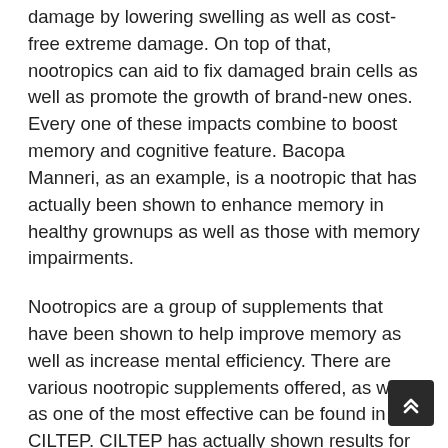Nootropics additionally help to secure the brain from damage by lowering swelling as well as cost-free extreme damage. On top of that, nootropics can aid to fix damaged brain cells as well as promote the growth of brand-new ones. Every one of these impacts combine to boost memory and cognitive feature. Bacopa Manneri, as an example, is a nootropic that has actually been shown to enhance memory in healthy grownups as well as those with memory impairments.
Nootropics are a group of supplements that have been shown to help improve memory as well as increase mental efficiency. There are various nootropic supplements offered, as well as one of the most effective can be found in CILTEP. CILTEP has actually shown results for both students that need far better emphasis during
One of one of the most important parts in any kind